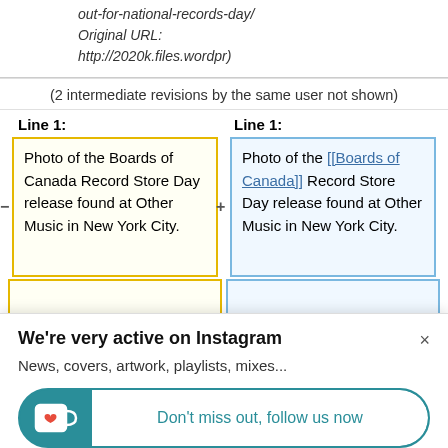out-for-national-records-day/
Original URL:
http://2020k.files.wordpr)
(2 intermediate revisions by the same user not shown)
Line 1:
Line 1:
Photo of the Boards of Canada Record Store Day release found at Other Music in New York City.
Photo of the [[Boards of Canada]] Record Store Day release found at Other Music in New York City.
We're very active on Instagram
News, covers, artwork, playlists, mixes...
Don't miss out, follow us now